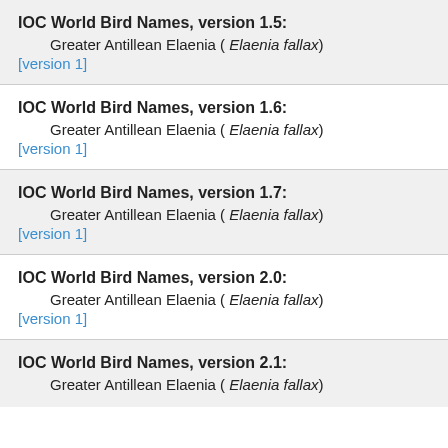IOC World Bird Names, version 1.5:
        Greater Antillean Elaenia ( Elaenia fallax)
[version 1]
IOC World Bird Names, version 1.6:
        Greater Antillean Elaenia ( Elaenia fallax)
[version 1]
IOC World Bird Names, version 1.7:
        Greater Antillean Elaenia ( Elaenia fallax)
[version 1]
IOC World Bird Names, version 2.0:
        Greater Antillean Elaenia ( Elaenia fallax)
[version 1]
IOC World Bird Names, version 2.1:
        Greater Antillean Elaenia ( Elaenia fallax)